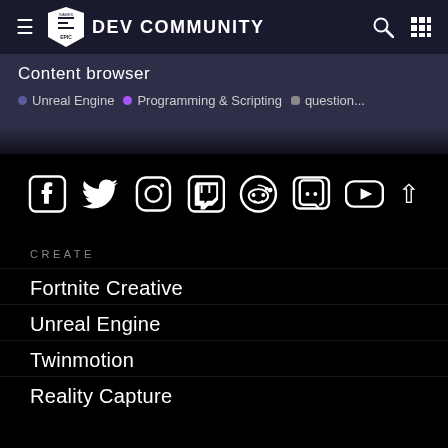EPIC GAMES DEV COMMUNITY
Content browser
Unreal Engine  •  Programming & Scripting  •  question...
[Figure (other): Social media icons row: Facebook, Twitter, Instagram, Twitch, Reddit, Discord, YouTube, and a back-to-top arrow]
CREATE
Fortnite Creative
Unreal Engine
Twinmotion
Reality Capture